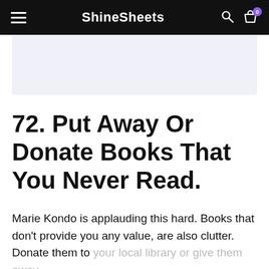ShineSheets
[Figure (other): Light purple/blue advertisement banner placeholder]
72. Put Away Or Donate Books That You Never Read.
Marie Kondo is applauding this hard. Books that don't provide you any value, are also clutter. Donate them to your local library or give them away.